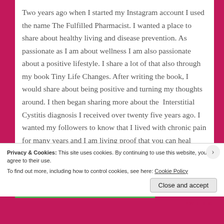Two years ago when I started my Instagram account I used the name The Fulfilled Pharmacist. I wanted a place to share about healthy living and disease prevention. As passionate as I am about wellness I am also passionate about a positive lifestyle. I share a lot of that also through my book Tiny Life Changes. After writing the book, I would share about being positive and turning my thoughts around. I then began sharing more about the  Interstitial Cystitis diagnosis I received over twenty five years ago. I wanted my followers to know that I lived with chronic pain for many years and I am living proof that you can heal your body from chronic
Privacy & Cookies: This site uses cookies. By continuing to use this website, you agree to their use.
To find out more, including how to control cookies, see here: Cookie Policy
Close and accept